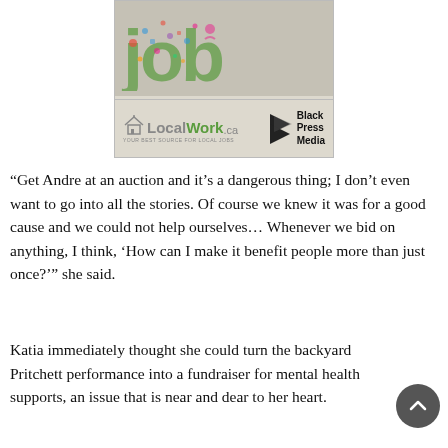[Figure (illustration): Advertisement for LocalWork.ca and Black Press Media. Shows stylized colorful 'job' letters made of small icons at top, with LocalWork.ca logo and Black Press Media logo at bottom of the ad box.]
“Get Andre at an auction and it’s a dangerous thing; I don’t even want to go into all the stories. Of course we knew it was for a good cause and we could not help ourselves… Whenever we bid on anything, I think, ‘How can I make it benefit people more than just once?’” she said.
Katia immediately thought she could turn the backyard Pritchett performance into a fundraiser for mental health supports, an issue that is near and dear to her heart.